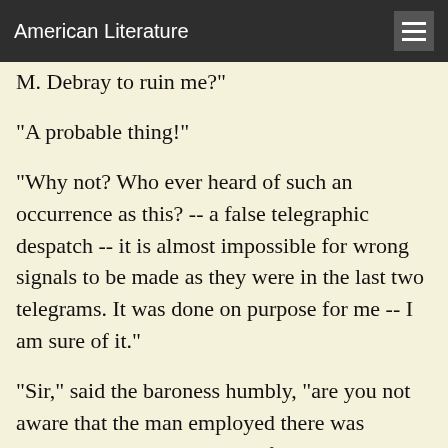American Literature
M. Debray to ruin me?"
"A probable thing!"
"Why not? Who ever heard of such an occurrence as this? -- a false telegraphic despatch -- it is almost impossible for wrong signals to be made as they were in the last two telegrams. It was done on purpose for me -- I am sure of it."
"Sir," said the baroness humbly, "are you not aware that the man employed there was dismissed, that they talked of going to law with him, that orders were issued to arrest him and that this order would have been put into execution if he had not escaped